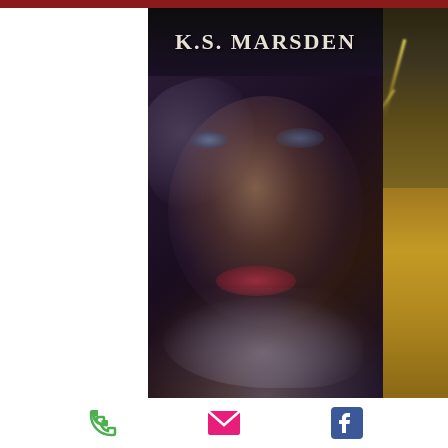[Figure (illustration): Book cover for K.S. Marsden. Dark atmospheric cover showing a woman's face emerging from smoke/mist against a dark purple-black background. The author name 'K.S. MARSDEN' appears at the top in white serif letters. The woman has striking blue-grey eyes, dark hair, and red lips, partially obscured by swirling smoke/mist. To the right of the cover is a partial view of another image showing a stormy desert landscape with lightning.]
[Figure (infographic): Bottom bar with three icons: a green phone icon, a pink/magenta envelope/email icon, and a blue Facebook icon.]